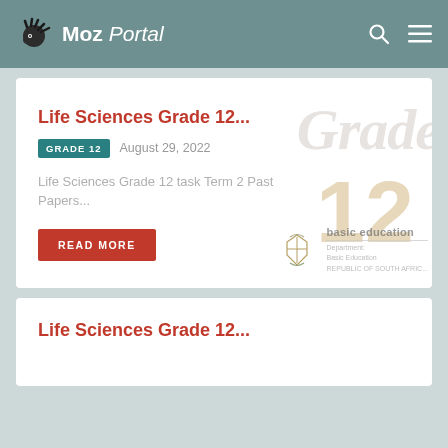MozPortal
Life Sciences Grade 12...
GRADE 12  August 29, 2022
Life Sciences Grade 12 task Term 2 Past Papers...
READ MORE
[Figure (illustration): Watermark background image showing 'Grade 12' text and South African Department of Basic Education logo/crest]
Life Sciences Grade 12...